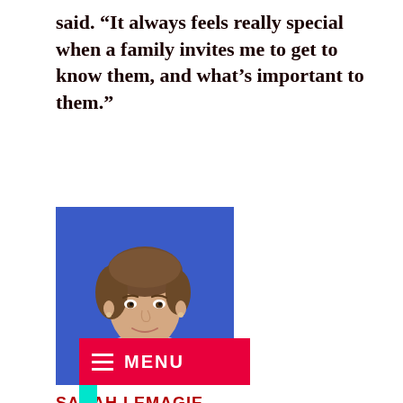said. “It always feels really special when a family invites me to get to know them, and what’s important to them.”
[Figure (photo): Headshot photo of Sarah Lemagie against a blue background, wearing a patterned blouse]
SARAH LEMAGIE
Sarah serves as the Foundation’s media showcases stories about its
[Figure (other): Red menu bar with hamburger icon and MENU text, with teal accent strip]